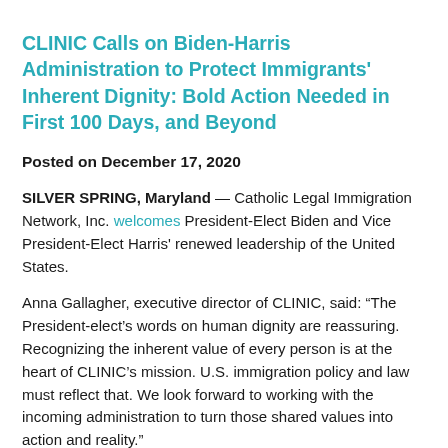CLINIC Calls on Biden-Harris Administration to Protect Immigrants' Inherent Dignity: Bold Action Needed in First 100 Days, and Beyond
Posted on December 17, 2020
SILVER SPRING, Maryland — Catholic Legal Immigration Network, Inc. welcomes President-Elect Biden and Vice President-Elect Harris' renewed leadership of the United States.
Anna Gallagher, executive director of CLINIC, said: “The President-elect’s words on human dignity are reassuring. Recognizing the inherent value of every person is at the heart of CLINIC’s mission. U.S. immigration policy and law must reflect that. We look forward to working with the incoming administration to turn those shared values into action and reality.”